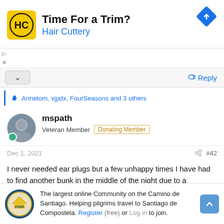[Figure (infographic): Hair Cuttery advertisement banner with yellow HC logo, 'Time For a Trim?' headline, 'Hair Cuttery' subline in blue, and a blue navigation diamond icon on the right]
▷
✕
^ (collapse button)   ↩ Reply
👍 Annetom, vjpdx, FourSeasons and 3 others
[Figure (photo): Avatar photo of user mspath, a person outdoors]
mspath
Veteran Member  Donating Member
Dec 1, 2021                                         🔗  #42
I never needed ear plugs but a few unhappy times I have had to find another bunk in the middle of the night due to a consistently overactive neighbor who forgot where he was as he zealously
[Figure (logo): The Camino forum logo (yellow arrow on blue circle with IVAR text)]
The largest online Community on the Camino de Santiago. Helping pilgrims travel to Santiago de Compostela. Register (free) or Log in to join.